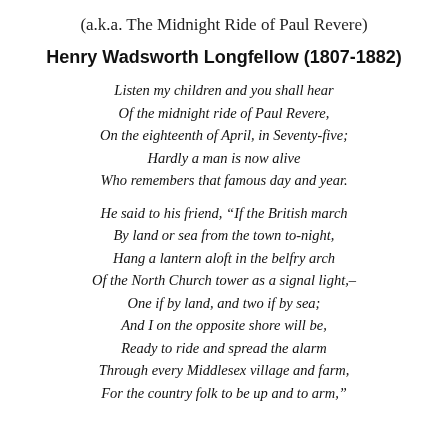(a.k.a. The Midnight Ride of Paul Revere)
Henry Wadsworth Longfellow (1807-1882)
Listen my children and you shall hear
Of the midnight ride of Paul Revere,
On the eighteenth of April, in Seventy-five;
Hardly a man is now alive
Who remembers that famous day and year.
He said to his friend, “If the British march
By land or sea from the town to-night,
Hang a lantern aloft in the belfry arch
Of the North Church tower as a signal light,–
One if by land, and two if by sea;
And I on the opposite shore will be,
Ready to ride and spread the alarm
Through every Middlesex village and farm,
For the country folk to be up and to arm,”